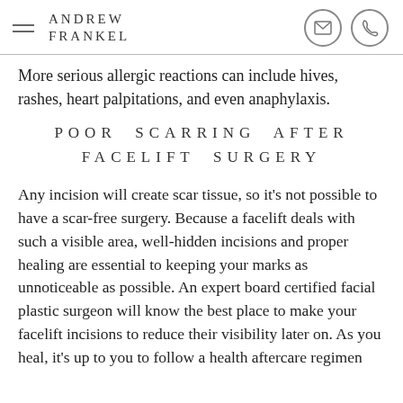ANDREW FRANKEL
More serious allergic reactions can include hives, rashes, heart palpitations, and even anaphylaxis.
POOR SCARRING AFTER FACELIFT SURGERY
Any incision will create scar tissue, so it's not possible to have a scar-free surgery. Because a facelift deals with such a visible area, well-hidden incisions and proper healing are essential to keeping your marks as unnoticeable as possible. An expert board certified facial plastic surgeon will know the best place to make your facelift incisions to reduce their visibility later on. As you heal, it's up to you to follow a health aftercare regimen